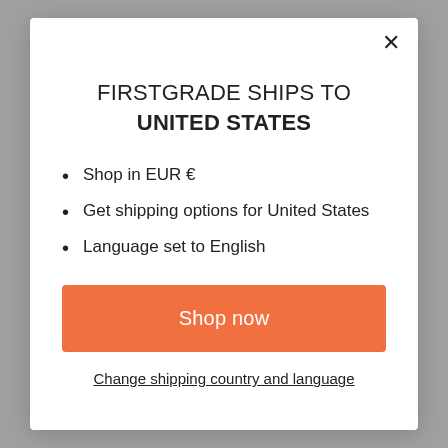FIRSTGRADE SHIPS TO UNITED STATES
Shop in EUR €
Get shipping options for United States
Language set to English
Shop now
Change shipping country and language